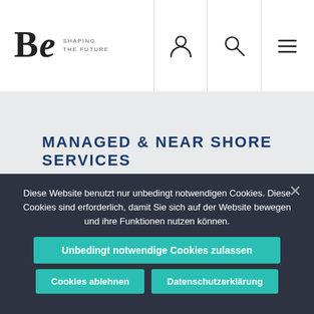[Figure (logo): Be Shaping The Future logo with stylized 'Be' text and tagline]
MANAGED & NEAR SHORE SERVICES
KARRIERE
KONTAKT
LOGIN
Diese Website benutzt nur unbedingt notwendigen Cookies. Diese Cookies sind erforderlich, damit Sie sich auf der Website bewegen und ihre Funktionen nutzen können.
Unbedingt notwendige Cookies zulassen
Cookies ablehnen
Datenschutzerklärung